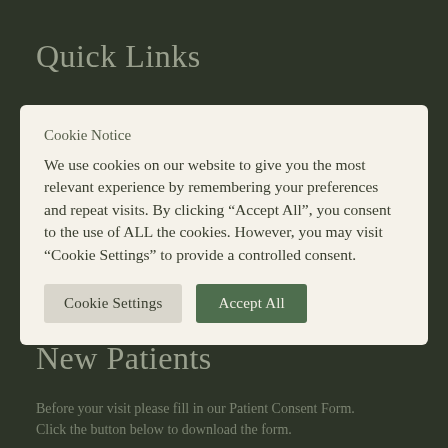Quick Links
Cookie Notice
We use cookies on our website to give you the most relevant experience by remembering your preferences and repeat visits. By clicking “Accept All”, you consent to the use of ALL the cookies. However, you may visit “Cookie Settings” to provide a controlled consent.
Cookie Settings   Accept All
New Patients
Before your visit please fill in our Patient Consent Form. Click the button below to download the form.